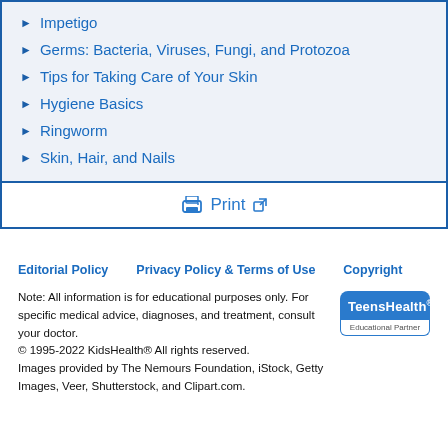Impetigo
Germs: Bacteria, Viruses, Fungi, and Protozoa
Tips for Taking Care of Your Skin
Hygiene Basics
Ringworm
Skin, Hair, and Nails
Print
Editorial Policy   Privacy Policy & Terms of Use   Copyright
Note: All information is for educational purposes only. For specific medical advice, diagnoses, and treatment, consult your doctor.
© 1995-2022 KidsHealth® All rights reserved.
Images provided by The Nemours Foundation, iStock, Getty Images, Veer, Shutterstock, and Clipart.com.
[Figure (logo): TeensHealth Educational Partner logo]